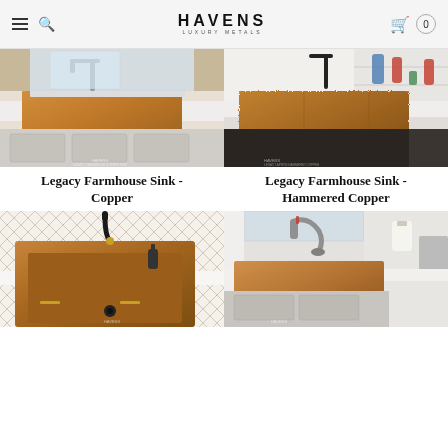HAVENS LUXURY METALS
[Figure (photo): Kitchen with Legacy Farmhouse Sink in Copper, warm brown copper apron front sink installed in white cabinetry]
[Figure (photo): Kitchen with Legacy Farmhouse Sink in Hammered Copper, textured copper apron front sink in kitchen with dark faucet and soap dispensers]
Legacy Farmhouse Sink - Copper
Legacy Farmhouse Sink - Hammered Copper
[Figure (photo): Close-up of copper farmhouse sink with black faucet, geometric tile backsplash]
[Figure (photo): Copper farmhouse sink installed in white kitchen with industrial faucet and paper towel holder]